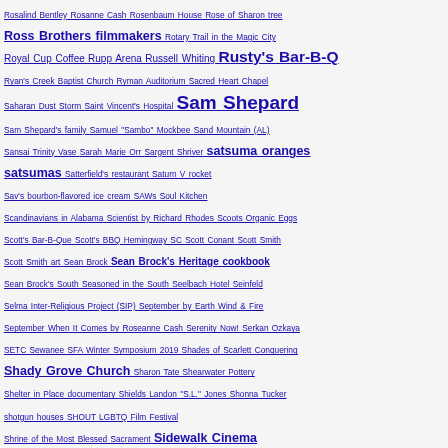Index entries from Rosalind Bentley to southern foodways, with varying font sizes indicating frequency/importance of entries.